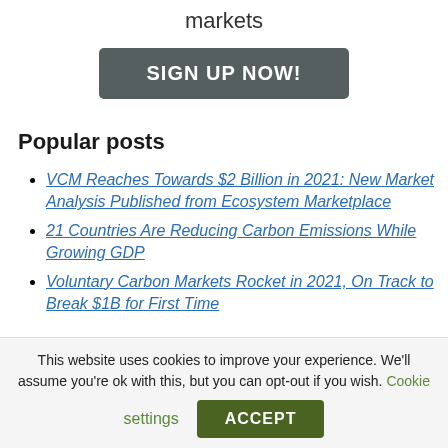markets
SIGN UP NOW!
Popular posts
VCM Reaches Towards $2 Billion in 2021: New Market Analysis Published from Ecosystem Marketplace
21 Countries Are Reducing Carbon Emissions While Growing GDP
Voluntary Carbon Markets Rocket in 2021, On Track to Break $1B for First Time
This website uses cookies to improve your experience. We'll assume you're ok with this, but you can opt-out if you wish. Cookie settings ACCEPT